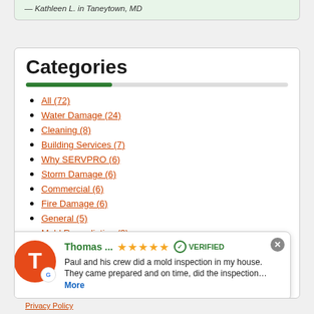— Kathleen L. in Taneytown, MD
Categories
All (72)
Water Damage (24)
Cleaning (8)
Building Services (7)
Why SERVPRO (6)
Storm Damage (6)
Commercial (6)
Fire Damage (6)
General (5)
Mold Remediation (3)
Biohazard (1)
Thomas ... ★★★★★ ✓ VERIFIED
Paul and his crew did a mold inspection in my house. They came prepared and on time, did the inspection... More
Privacy Policy